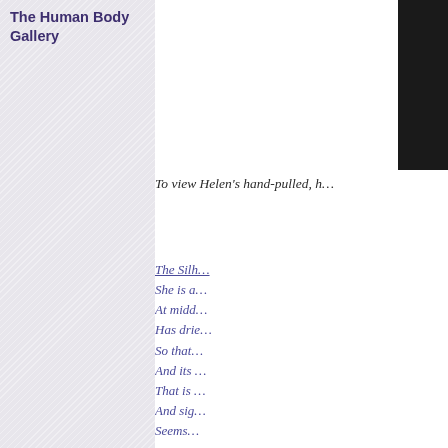The Human Body Gallery
[Figure (photo): Partial view of a framed artwork or photograph, dark frame visible at right edge of page]
To view Helen's hand-pulled, h…
The Silh…
She is a…
At midd…
Has drie…
So that…
And its …
That is …
And sig…
Seems…